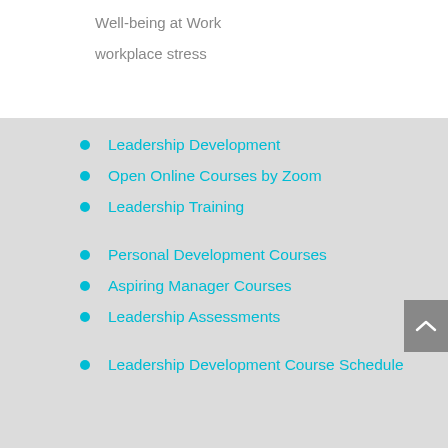Well-being at Work
workplace stress
Leadership Development
Open Online Courses by Zoom
Leadership Training
Personal Development Courses
Aspiring Manager Courses
Leadership Assessments
Leadership Development Course Schedule